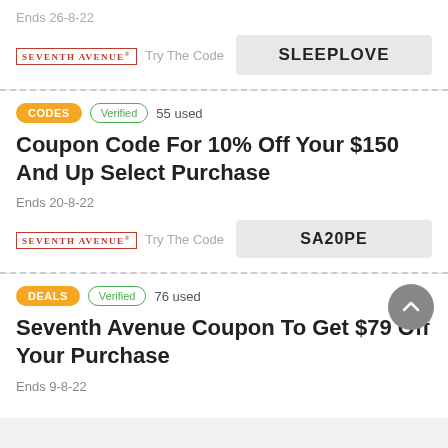Ends 26-8-22
Try The Code
SLEEPLOVE
[Figure (logo): Seventh Avenue brand logo in red uppercase text]
CODES   Verified   55 used
Coupon Code For 10% Off Your $150 And Up Select Purchase
Ends 20-8-22
Try The Code
SA20PE
[Figure (logo): Seventh Avenue brand logo in red uppercase text]
DEALS   Verified   76 used
Seventh Avenue Coupon To Get $79 Off Your Purchase
Ends 9-8-22